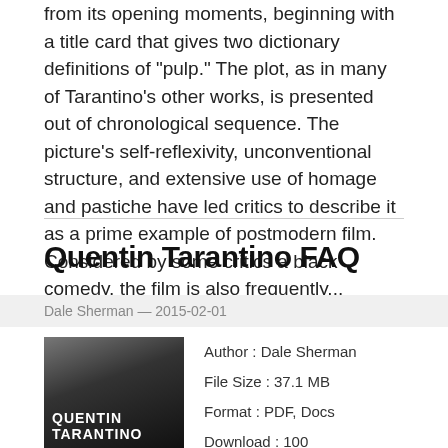from its opening moments, beginning with a title card that gives two dictionary definitions of "pulp." The plot, as in many of Tarantino's other works, is presented out of chronological sequence. The picture's self-reflexivity, unconventional structure, and extensive use of homage and pastiche have led critics to describe it as a prime example of postmodern film. Considered by some critics a black comedy, the film is also frequently...
Quentin Tarantino FAQ
Dale Sherman — 2015-02-01
[Figure (photo): Black and white photo of Quentin Tarantino on book cover with text QUENTIN TARANTINO at the bottom]
Author : Dale Sherman
File Size : 37.1 MB
Format : PDF, Docs
Download : 100
Read : 364